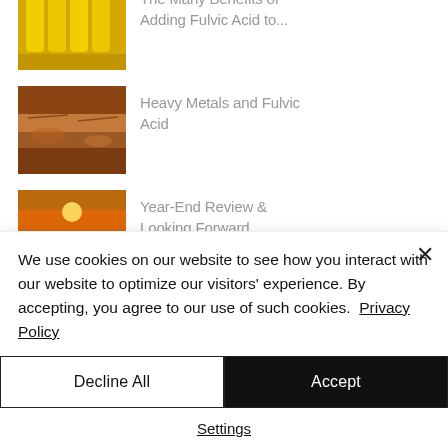[Figure (photo): Yellow bottles on a production line (partially visible at top)]
The Many Benefits of Adding Fulvic Acid to...
[Figure (photo): Red/brown rocky terrain or clay soil]
Heavy Metals and Fulvic Acid
[Figure (photo): Road at sunset with '2022' painted on the asphalt]
Year-End Review & Looking Forward
[Figure (photo): Blue/teal water image (partially visible at bottom)]
Chlorinated Water &
We use cookies on our website to see how you interact with our website to optimize our visitors' experience. By accepting, you agree to our use of such cookies.  Privacy Policy
Decline All
Accept
Settings